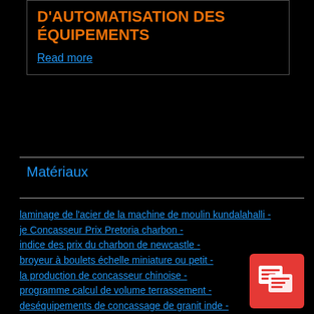D'AUTOMATISATION DES ÉQUIPEMENTS
Read more
Matériaux
laminage de l'acier de la machine de moulin kundalahalli -
je Concasseur Prix Pretoria charbon -
indice des prix du charbon de newcastle -
broyeur à boulets échelle miniature ou petit -
la production de concasseur chinoise -
programme calcul de volume terrassement -
deséquipements de concassage de granit inde -
Broyage charbon prix de la machine -
roche theorie de la rupture par des concasseurs -
[Figure (illustration): Red chat/message icon button in bottom right corner]